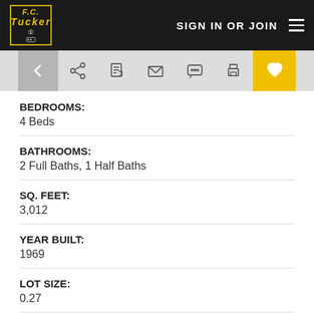F.C. Tucker — SIGN IN OR JOIN
BEDROOMS:
4 Beds
BATHROOMS:
2 Full Baths, 1 Half Baths
SQ. FEET:
3,012
YEAR BUILT:
1969
LOT SIZE:
0.27
COUNTY:
Tippecanoe County